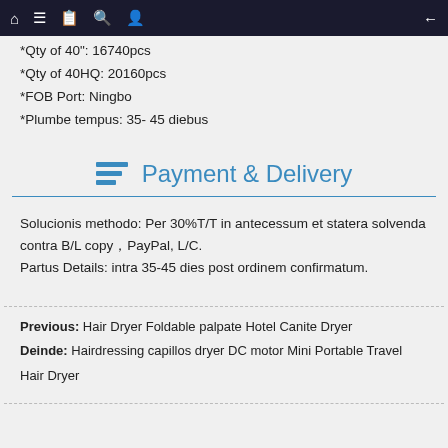navigation bar with home, menu, document, search, profile, back icons
*Qty of 40": 16740pcs
*Qty of 40HQ: 20160pcs
*FOB Port: Ningbo
*Plumbe tempus: 35- 45 diebus
Payment & Delivery
Solucionis methodo: Per 30%T/T in antecessum et statera solvenda contra B/L copy，PayPal, L/C.
Partus Details: intra 35-45 dies post ordinem confirmatum.
Previous:  Hair Dryer Foldable palpate Hotel Canite Dryer
Deinde:  Hairdressing capillos dryer DC motor Mini Portable Travel Hair Dryer